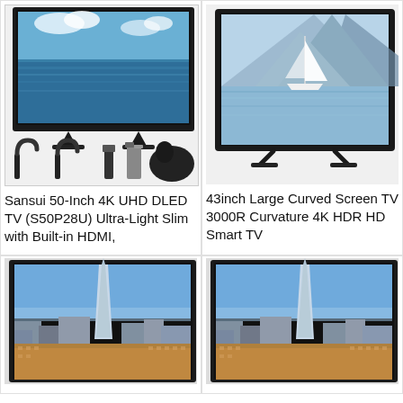[Figure (photo): Sansui 50-inch TV display showing ocean/water scene on screen, with stand and accessories (cables, spray bottle, cleaning mitt) below]
Sansui 50-Inch 4K UHD DLED TV (S50P28U) Ultra-Light Slim with Built-in HDMI,
[Figure (photo): 43-inch flat screen TV showing a sailboat on a calm lake with mountains, mounted on stand]
43inch Large Curved Screen TV 3000R Curvature 4K HDR HD Smart TV
[Figure (photo): TV showing London cityscape with The Shard skyscraper, city buildings and blue sky]
[Figure (photo): TV showing London cityscape with The Shard skyscraper, city buildings and blue sky (duplicate/similar product)]